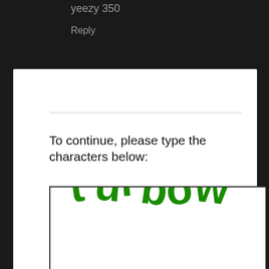yeezy 350
Reply
To continue, please type the characters below:
[Figure (other): CAPTCHA image showing distorted green text reading 'turbow' on white background with black border]
Please Note: If you are using Firefox or Internet Explorer, you may encounter difficulty posting comments unless you have 3rd Party Cookies enabled. If you cannot post comments, please enable 3rd Party Cookies and try again. If that does not work, please let me know at